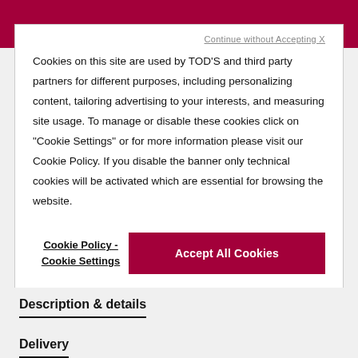Continue without Accepting X
Cookies on this site are used by TOD'S and third party partners for different purposes, including personalizing content, tailoring advertising to your interests, and measuring site usage. To manage or disable these cookies click on "Cookie Settings" or for more information please visit our Cookie Policy. If you disable the banner only technical cookies will be activated which are essential for browsing the website.
Cookie Policy - Cookie Settings
Accept All Cookies
Description & details
Delivery